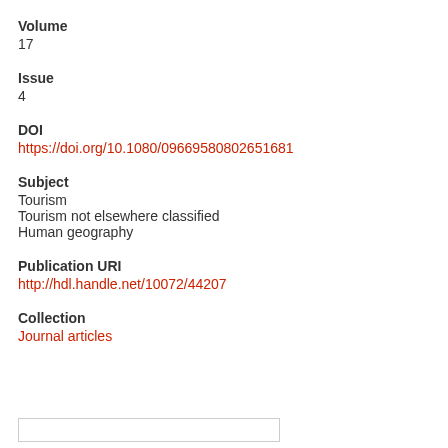Volume
17
Issue
4
DOI
https://doi.org/10.1080/09669580802651681
Subject
Tourism
Tourism not elsewhere classified
Human geography
Publication URI
http://hdl.handle.net/10072/44207
Collection
Journal articles